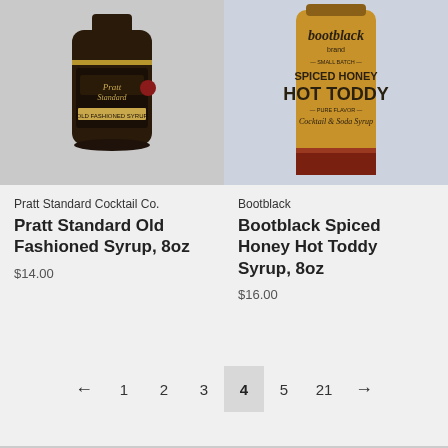[Figure (photo): Product photo of Pratt Standard Old Fashioned Syrup bottle, 8oz, dark bottle with black and gold label on gray background]
Pratt Standard Cocktail Co.
Pratt Standard Old Fashioned Syrup, 8oz
$14.00
[Figure (photo): Product photo of Bootblack Spiced Honey Hot Toddy Syrup bottle, 8oz, yellow label with dark text on light blue background]
Bootblack
Bootblack Spiced Honey Hot Toddy Syrup, 8oz
$16.00
← 1 2 3 4 5 21 →